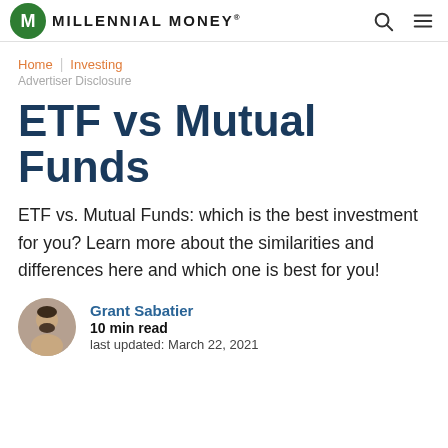MILLENNIAL MONEY®
Home | Investing
Advertiser Disclosure
ETF vs Mutual Funds
ETF vs. Mutual Funds: which is the best investment for you? Learn more about the similarities and differences here and which one is best for you!
Grant Sabatier
10 min read
last updated: March 22, 2021